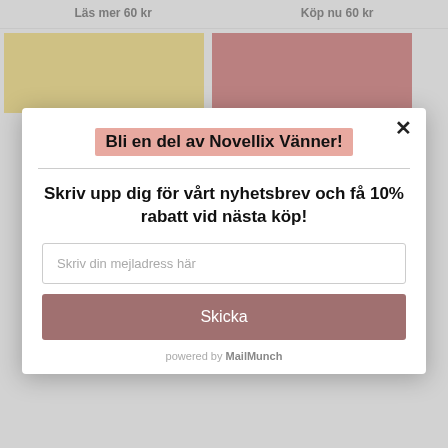Läs mer 60 kr
Köp nu 60 kr
Bli en del av Novellix Vänner!
Skriv upp dig för vårt nyhetsbrev och få 10% rabatt vid nästa köp!
Skriv din mejladress här
Skicka
powered by MailMunch